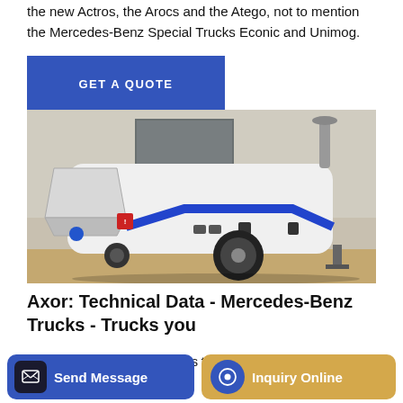the new Actros, the Arocs and the Atego, not to mention the Mercedes-Benz Special Trucks Econic and Unimog.
GET A QUOTE
[Figure (photo): White concrete pump machine/trailer with blue stripe and hopper, parked on concrete ground in front of a building]
Axor: Technical Data - Mercedes-Benz Trucks - Trucks you
genuine parts and accessories to depreciation-suitable
Send Message
Inquiry Online